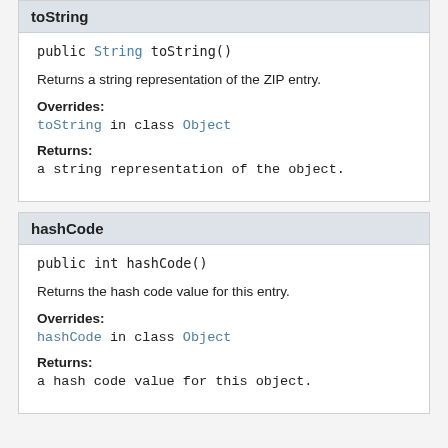toString
public String toString()
Returns a string representation of the ZIP entry.
Overrides:
toString in class Object
Returns:
a string representation of the object.
hashCode
public int hashCode()
Returns the hash code value for this entry.
Overrides:
hashCode in class Object
Returns:
a hash code value for this object.